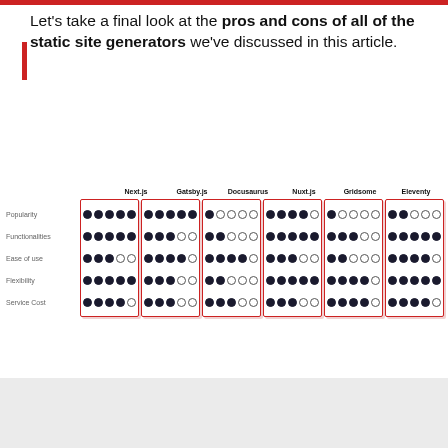Let's take a final look at the pros and cons of all of the static site generators we've discussed in this article.
[Figure (infographic): Rating comparison table for static site generators (Next.js, Gatsby.js, Docusaurus, Nuxt.js, Gridsome, Eleventy) across criteria: Popularity, Functionalities, Ease of use, Flexibility, Service Cost. Ratings shown as filled/empty dot icons out of 5.]